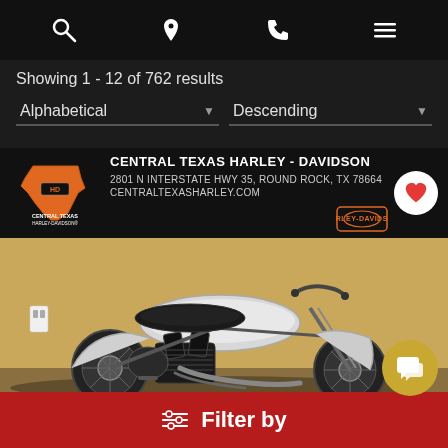Navigation bar with search, location, phone, and menu icons
Showing 1 - 12 of 762 results
Alphabetical | Descending
[Figure (screenshot): Central Texas Harley-Davidson dealer listing card showing dealer banner with logo, address '2801 N INTERSTATE HWY 35, ROUND ROCK, TX 78664', website 'CENTRALTEXASHARLEY.COM', a heart/favorite button, Harley-Davidson bar-and-shield logo, and a silver Harley-Davidson Sportster Iron motorcycle on a tan/gold background]
Filter by